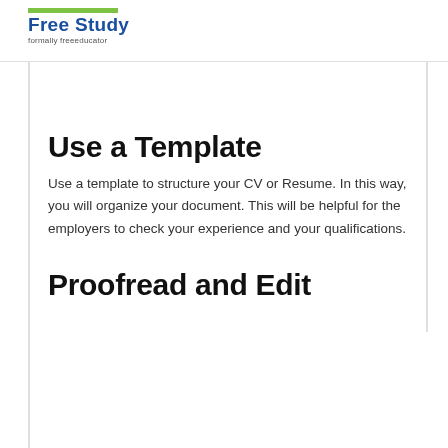Free Study formally freeeducator
Use a Template
Use a template to structure your CV or Resume. In this way, you will organize your document. This will be helpful for the employers to check your experience and your qualifications.
Proofread and Edit